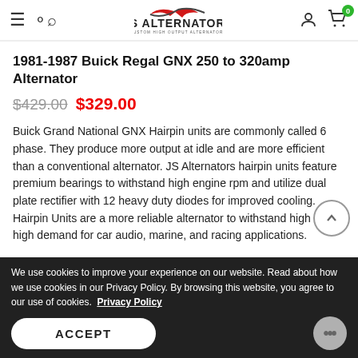JS Alternators — Custom High Output Alternators
1981-1987 Buick Regal GNX 250 to 320amp Alternator
$429.00 $329.00
Buick Grand National GNX Hairpin units are commonly called 6 phase. They produce more output at idle and are more efficient than a conventional alternator. JS Alternators hairpin units feature premium bearings to withstand high engine rpm and utilize dual plate rectifier with 12 heavy duty diodes for improved cooling. Hairpin Units are a more reliable alternator to withstand high heat, high demand for car audio, marine, and racing applications.
We use cookies to improve your experience on our website. Read about how we use cookies in our Privacy Policy. By browsing this website, you agree to our use of cookies.  Privacy Policy
ACCEPT